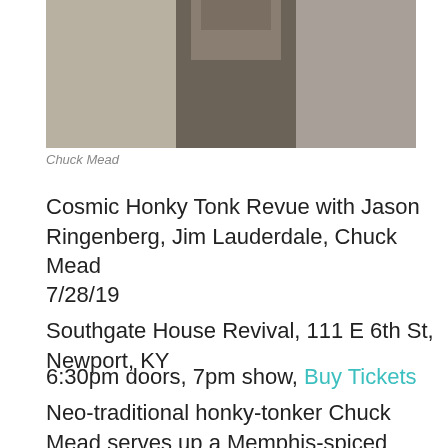[Figure (photo): Black and white photo of Chuck Mead, a man in dark clothing, partial view from mid-section down]
Chuck Mead
Cosmic Honky Tonk Revue with Jason Ringenberg, Jim Lauderdale, Chuck Mead
7/28/19
Southgate House Revival, 111 E 6th St, Newport, KY
6:30pm doors, 7pm show, Buy Tickets
Neo-traditional honky-tonker Chuck Mead serves up a Memphis-spiced hardcore country platter with Close to Home, due for release on June 21, 2019. The 11-track collection, on Nashville independent label Plowboy Records,